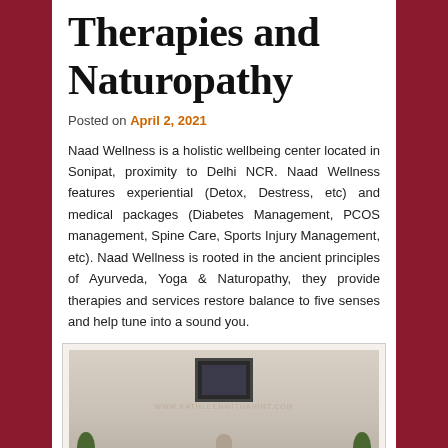Therapies and Naturopathy
Posted on April 2, 2021
Naad Wellness is a holistic wellbeing center located in Sonipat, proximity to Delhi NCR. Naad Wellness features experiential (Detox, Destress, etc) and medical packages (Diabetes Management, PCOS management, Spine Care, Sports Injury Management, etc). Naad Wellness is rooted in the ancient principles of Ayurveda, Yoga & Naturopathy, they provide therapies and services restore balance to five senses and help tune into a sound you.
[Figure (photo): Interior room of Naad Wellness center with a framed picture on the wall and plants visible at the bottom corners]